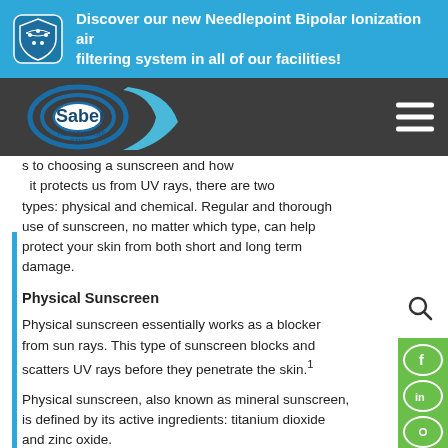Discover our new Needlepoint Bipolar Ionization air filtering system in all of our facilities!
[Figure (logo): Saber Healthcare Group logo]
s to choosing a sunscreen and how it protects us from UV rays, there are two types: physical and chemical. Regular and thorough use of sunscreen, no matter which type, can help protect your skin from both short and long term damage.
Physical Sunscreen
Physical sunscreen essentially works as a blocker from sun rays. This type of sunscreen blocks and scatters UV rays before they penetrate the skin.1
Physical sunscreen, also known as mineral sunscreen, is defined by its active ingredients: titanium dioxide and zinc oxide.
This type of sunscreen is also considered the most gentle option for those with sensitive skin.